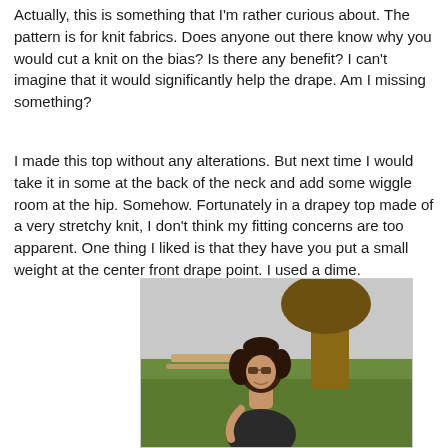Actually, this is something that I'm rather curious about. The pattern is for knit fabrics. Does anyone out there know why you would cut a knit on the bias? Is there any benefit? I can't imagine that it would significantly help the drape. Am I missing something?
I made this top without any alterations. But next time I would take it in some at the back of the neck and add some wiggle room at the hip. Somehow. Fortunately in a drapey top made of a very stretchy knit, I don't think my fitting concerns are too apparent. One thing I liked is that they have you put a small weight at the center front drape point. I used a dime.
[Figure (photo): A woman with curly dark hair and sunglasses wearing a dark top, standing outdoors on grass with a tree in the background.]